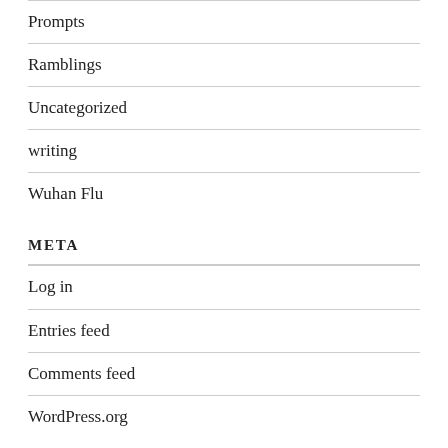Prompts
Ramblings
Uncategorized
writing
Wuhan Flu
META
Log in
Entries feed
Comments feed
WordPress.org